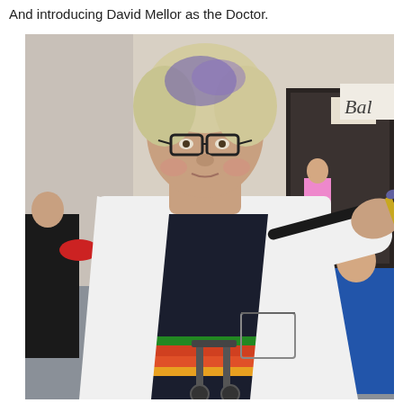And introducing David Mellor as the Doctor.
[Figure (photo): A person cosplaying as the Doctor from Doctor Who at what appears to be a convention. They are wearing a white lab coat over a dark t-shirt with colorful horizontal stripes, have shoulder-length blonde/grey hair with hints of blue/purple, glasses, and are pointing a sonic screwdriver toward the camera. They have a mobility walker behind them. The background shows a convention hall interior with other attendees visible.]